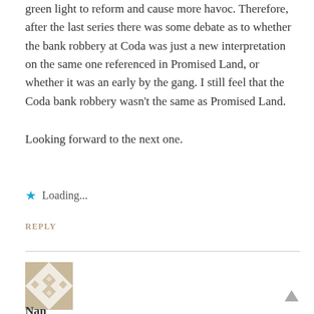green light to reform and cause more havoc. Therefore, after the last series there was some debate as to whether the bank robbery at Coda was just a new interpretation on the same one referenced in Promised Land, or whether it was an early by the gang. I still feel that the Coda bank robbery wasn't the same as Promised Land.
Looking forward to the next one.
★ Loading...
REPLY
[Figure (illustration): Square avatar image with a decorative geometric pattern in tan/beige and white tones, featuring diamond and arrow shapes arranged symmetrically.]
Nan